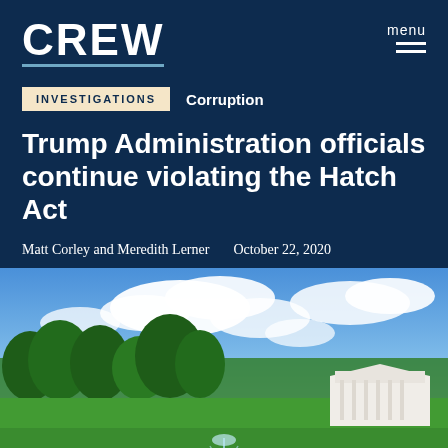CREW
menu
INVESTIGATIONS   Corruption
Trump Administration officials continue violating the Hatch Act
Matt Corley and Meredith Lerner   October 22, 2020
[Figure (photo): Aerial view of the White House grounds showing manicured lawns, trees, gardens with a fountain in the foreground and the White House building visible on the right, under a partly cloudy blue sky.]